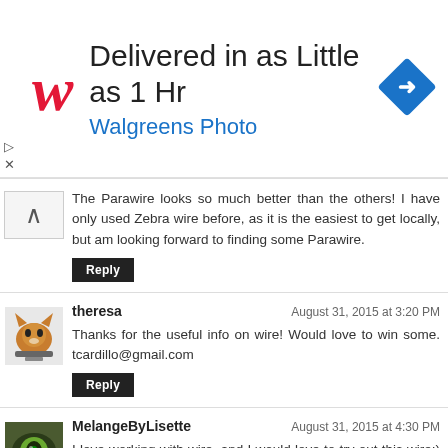[Figure (other): Walgreens Photo advertisement banner. Red cursive W logo on left, text 'Delivered in as Little as 1 Hr' in large black font, 'Walgreens Photo' in blue below, blue diamond navigation arrow icon on right.]
The Parawire looks so much better than the others! I have only used Zebra wire before, as it is the easiest to get locally, but am looking forward to finding some Parawire.
Reply
theresa
August 31, 2015 at 3:20 PM
Thanks for the useful info on wire! Would love to win some. tcardillo@gmail.com
Reply
MelangeByLisette
August 31, 2015 at 4:30 PM
I love working with wire, and I would love to try out this wire;) I collect and use many kinds of wire it is wonderful medium to play with. I appreciate the chance o win too! I